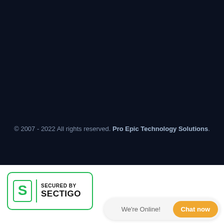Top
© 2007 - 2022 All rights reserved. Pro Epic Technology Solutions.
[Figure (logo): Secured by Sectigo badge with green border, Sectigo S logo, vertical green divider, and text SECURED BY SECTIGO in bold black]
We're Online!
Chat now